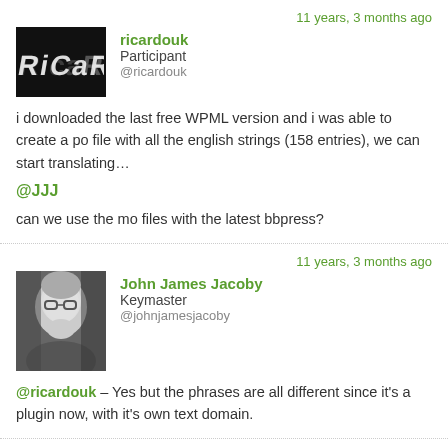11 years, 3 months ago
[Figure (logo): Ricardo stylized logo in black with distressed/grunge font]
ricardouk
Participant
@ricardouk
i downloaded the last free WPML version and i was able to create a po file with all the english strings (158 entries), we can start translating…
@JJJ
can we use the mo files with the latest bbpress?
11 years, 3 months ago
[Figure (photo): Black and white headshot photo of John James Jacoby wearing glasses]
John James Jacoby
Keymaster
@johnjamesjacoby
@ricardouk – Yes but the phrases are all different since it's a plugin now, with it's own text domain.